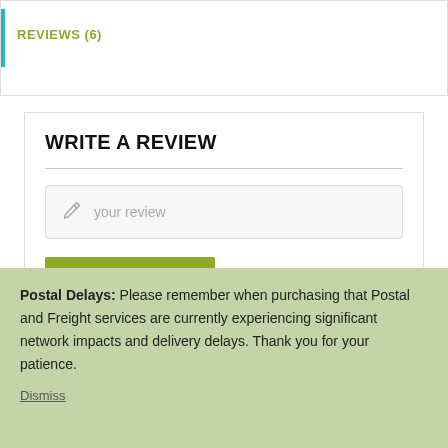REVIEWS (6)
WRITE A REVIEW
your review
Add Your Review
Postal Delays: Please remember when purchasing that Postal and Freight services are currently experiencing significant network impacts and delivery delays. Thank you for your patience.
Dismiss